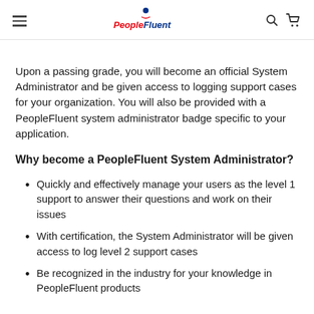PeopleFluent (logo with navigation icons)
Upon a passing grade, you will become an official System Administrator and be given access to logging support cases for your organization. You will also be provided with a PeopleFluent system administrator badge specific to your application.
Why become a PeopleFluent System Administrator?
Quickly and effectively manage your users as the level 1 support to answer their questions and work on their issues
With certification, the System Administrator will be given access to log level 2 support cases
Be recognized in the industry for your knowledge in PeopleFluent products